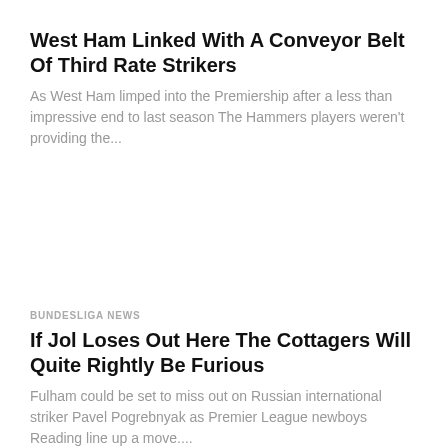West Ham Linked With A Conveyor Belt Of Third Rate Strikers
As West Ham limped into the Premiership after a less than impressive end to last season The Hammers players weren't providing the...
BUNDESLIGA NEWS
If Jol Loses Out Here The Cottagers Will Quite Rightly Be Furious
Fulham could be set to miss out on Russian international striker Pavel Pogrebnyak as Premier League newboys Reading line up a move....